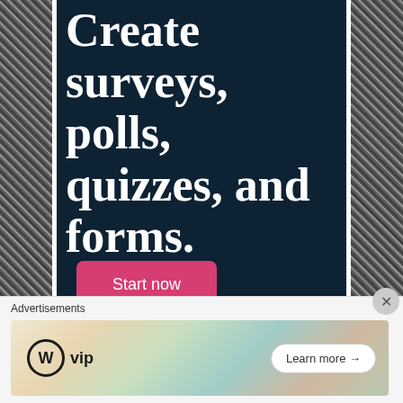[Figure (illustration): Dark teal/navy advertisement panel with large white serif text reading 'Create surveys, polls, quizzes, and forms.' with a pink 'Start now' button and decorative dot pattern, flanked by black textured photo strips on left and right]
Advertisements
[Figure (illustration): WordPress VIP advertisement banner with logo on colorful background and 'Learn more' button with arrow]